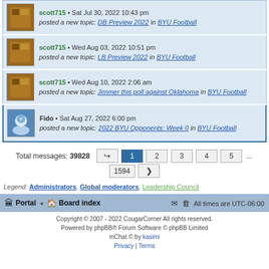scott715 • Sat Jul 30, 2022 10:43 pm posted a new topic: DB Preview 2022 in BYU Football
scott715 • Wed Aug 03, 2022 10:51 pm posted a new topic: LB Preview 2022 in BYU Football
scott715 • Wed Aug 10, 2022 2:06 am posted a new topic: Jimmer this poll against Oklahoma in BYU Football
Fido • Sat Aug 27, 2022 6:00 pm posted a new topic: 2022 BYU Opponents: Week 0 in BYU Football
Total messages: 39828
Legend: Administrators, Global moderators, Leadership Council
Portal • Board index | All times are UTC-06:00
Copyright © 2007 - 2022 CougarCorner All rights reserved.
Powered by phpBB® Forum Software © phpBB Limited
mChat © by kasimi
Privacy | Terms